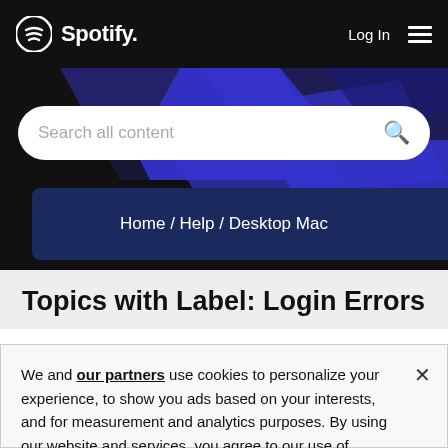Spotify — Log In
[Figure (screenshot): Spotify website header with logo, Log In link, hamburger menu, blue angular graphic shapes background, and a search bar with placeholder 'Search all content']
Home / Help / Desktop Mac
Topics with Label: Login Errors
We and our partners use cookies to personalize your experience, to show you ads based on your interests, and for measurement and analytics purposes. By using our website and services, you agree to our use of cookies as described in our Cookie Policy.